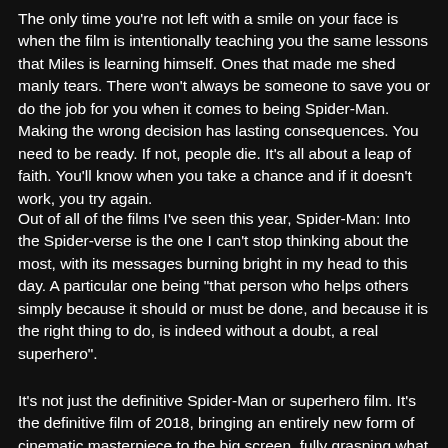The only time you're not left with a smile on your face is when the film is intentionally teaching you the same lessons that Miles is learning himself. Ones that made me shed manly tears. There won't always be someone to save you or do the job for you when it comes to being Spider-Man. Making the wrong decision has lasting consequences. You need to be ready. If not, people die. It's all about a leap of faith. You'll know when you take a chance and if it doesn't work, you try again.
Out of all of the films I've seen this year, Spider-Man: Into the Spider-verse is the one I can't stop thinking about the most, with its messages burning bright in my head to this day. A particular one being "that person who helps others simply because it should or must be done, and because it is the right thing to do, is indeed without a doubt, a real superhero".
It's not just the definitive Spider-Man or superhero film. It's the definitive film of 2018, bringing an entirely new form of cinematic masterpiece to the big screen, fully grasping what